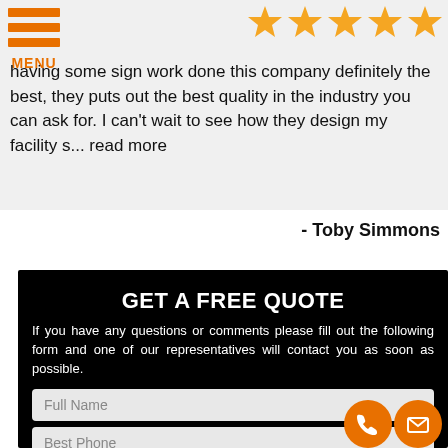[Figure (other): Navigation menu icon with three orange horizontal bars and orange MENU label]
[Figure (other): Five gold/orange star rating icons]
having some sign work done this company definitely the best, they puts out the best quality in the industry you can ask for. I can't wait to see how they design my facility s... read more
- Toby Simmons
GET A FREE QUOTE
If you have any questions or comments please fill out the following form and one of our representatives will contact you as soon as possible.
Full Name
Best Phone